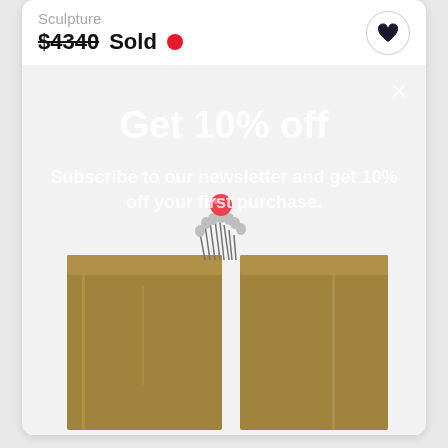Sculpture
$4340 Sold
[Figure (photo): Art marketplace listing showing a sculpture with two wooden blocks and a metal wire figure with red ball, overlaid with a newsletter signup modal reading 'Get 10% off' and 'Subscribe to our newsletter and get 10% off your first purchase.']